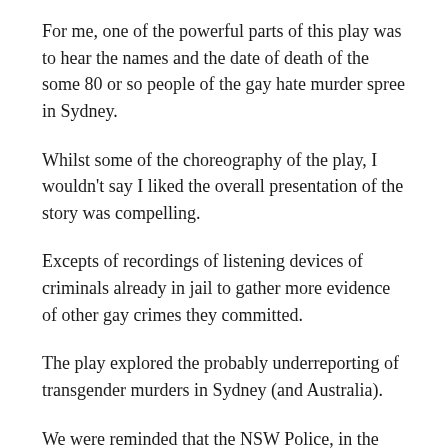For me, one of the powerful parts of this play was to hear the names and the date of death of the some 80 or so people of the gay hate murder spree in Sydney.
Whilst some of the choreography of the play, I wouldn't say I liked the overall presentation of the story was compelling.
Excepts of recordings of listening devices of criminals already in jail to gather more evidence of other gay crimes they committed.
The play explored the probably underreporting of transgender murders in Sydney (and Australia).
We were reminded that the NSW Police, in the case of an American student, determined that it was suicide without collecting any evidence. Three coronial inquiries later, the State Coroner